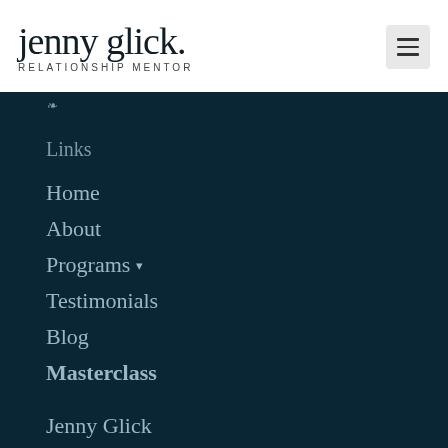jenny glick. RELATIONSHIP MENTOR
Links
Home
About
Programs
Testimonials
Blog
Masterclass
Jenny Glick
I am a licensed marriage and family